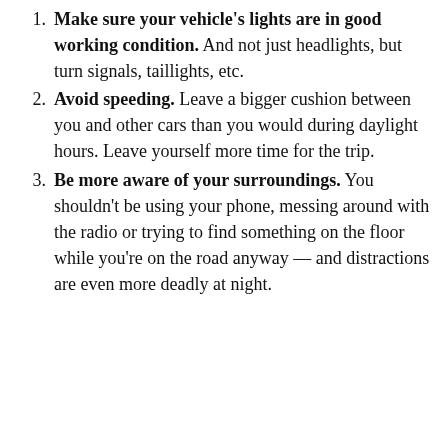1. Make sure your vehicle's lights are in good working condition. And not just headlights, but turn signals, taillights, etc.
2. Avoid speeding. Leave a bigger cushion between you and other cars than you would during daylight hours. Leave yourself more time for the trip.
3. Be more aware of your surroundings. You shouldn't be using your phone, messing around with the radio or trying to find something on the floor while you're on the road anyway — and distractions are even more deadly at night.